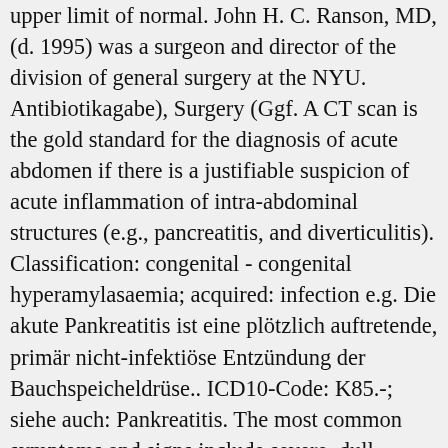upper limit of normal. John H. C. Ranson, MD, (d. 1995) was a surgeon and director of the division of general surgery at the NYU. Antibiotikagabe), Surgery (Ggf. A CT scan is the gold standard for the diagnosis of acute abdomen if there is a justifiable suspicion of acute inflammation of intra-abdominal structures (e.g., pancreatitis, and diverticulitis). Classification: congenital - congenital hyperamylasaemia; acquired: infection e.g. Die akute Pankreatitis ist eine plötzlich auftretende, primär nicht-infektiöse Entzündung der Bauchspeicheldrüse.. ICD10-Code: K85.-; siehe auch: Pankreatitis. The most common symptoms and signs include severe, dull epigastric pain, nausea, vomiting, diarrhea, anorexia and fever. Risk assessment in acute pancreatitis. References:[5][6][7][8][9][10][11][12][13][14][15][16][17]. When necrosis involves the parenchyma, accompanied by hemorrhage and dysfunction of the gland, the inflammation evolves into hemorrhagic or